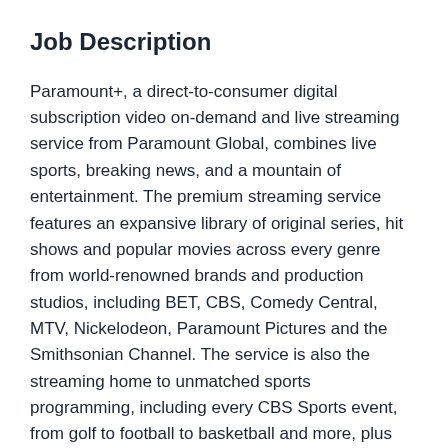Job Description
Paramount+, a direct-to-consumer digital subscription video on-demand and live streaming service from Paramount Global, combines live sports, breaking news, and a mountain of entertainment. The premium streaming service features an expansive library of original series, hit shows and popular movies across every genre from world-renowned brands and production studios, including BET, CBS, Comedy Central, MTV, Nickelodeon, Paramount Pictures and the Smithsonian Channel. The service is also the streaming home to unmatched sports programming, including every CBS Sports event, from golf to football to basketball and more, plus exclusive streaming rights for major sports properties, including some of the